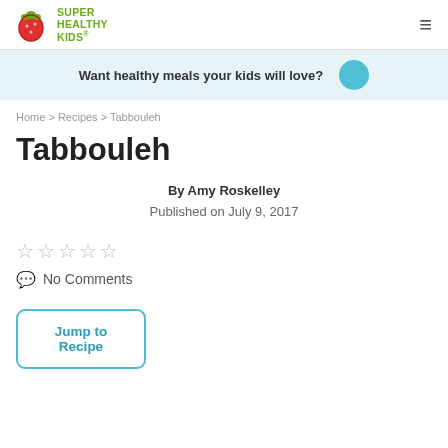Super Healthy Kids
Want healthy meals your kids will love?
Home > Recipes > Tabbouleh
Tabbouleh
By Amy Roskelley
Published on July 9, 2017
☆☆☆☆☆
No Comments
Jump to Recipe